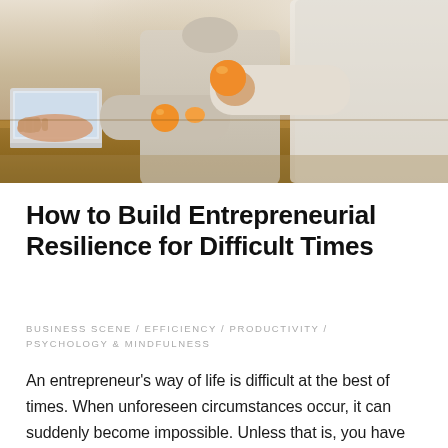[Figure (photo): A photo of what appears to be a parent working at a laptop on a wooden desk while a child reaches over holding an orange. The scene suggests work-from-home or balancing parenting and entrepreneurship.]
How to Build Entrepreneurial Resilience for Difficult Times
BUSINESS SCENE / EFFICIENCY / PRODUCTIVITY / PSYCHOLOGY & MINDFULNESS
An entrepreneur's way of life is difficult at the best of times. When unforeseen circumstances occur, it can suddenly become impossible. Unless that is, you have carefully built entrepreneurial resilience, allowing you to face difficult times with fortitude. The importan...